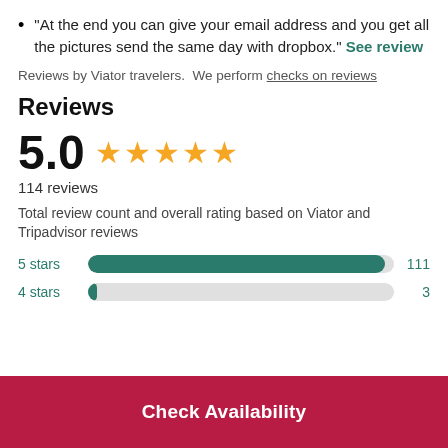"At the end you can give your email address and you get all the pictures send the same day with dropbox." See review
Reviews by Viator travelers.  We perform checks on reviews
Reviews
[Figure (other): Rating display showing 5.0 with five gold stars and 114 reviews]
Total review count and overall rating based on Viator and Tripadvisor reviews
[Figure (bar-chart): Star rating distribution]
Check Availability